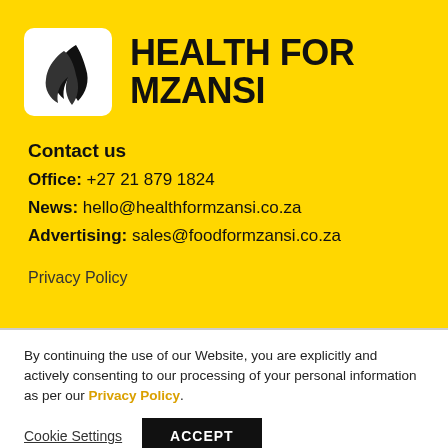[Figure (logo): Health for Mzansi logo: white rounded square with black feather/leaf icon, next to bold black text 'HEALTH FOR MZANSI' on yellow background]
HEALTH FOR MZANSI
Contact us
Office: +27 21 879 1824
News: hello@healthformzansi.co.za
Advertising: sales@foodformzansi.co.za
Privacy Policy
By continuing the use of our Website, you are explicitly and actively consenting to our processing of your personal information as per our Privacy Policy.
Cookie Settings
ACCEPT